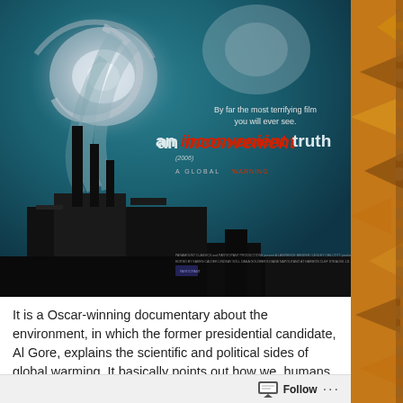[Figure (photo): Movie poster for 'An Inconvenient Truth' - shows industrial smokestacks with smoke merging into a hurricane swirl against a teal sky. Text reads: 'By far the most terrifying film you will ever see.' Title: 'an inconvenient truth' with 'inconvenient' in red italic. Subtitle: '(2006)' and 'A GLOBAL WARNING'. Bottom has production credits.]
It is a Oscar-winning documentary about the environment, in which the former presidential candidate, Al Gore, explains the scientific and political sides of global warming. It basically points out how we, humans, have messed up the planet. It's also
Follow ···